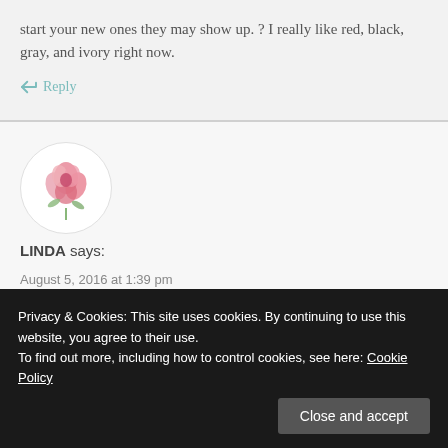start your new ones they may show up. ? I really like red, black, gray, and ivory right now.
↩ Reply
[Figure (illustration): Circular avatar image of a watercolor pink rose flower on white background]
LINDA says:
August 5, 2016 at 1:39 pm
Privacy & Cookies: This site uses cookies. By continuing to use this website, you agree to their use.
To find out more, including how to control cookies, see here: Cookie Policy
Close and accept